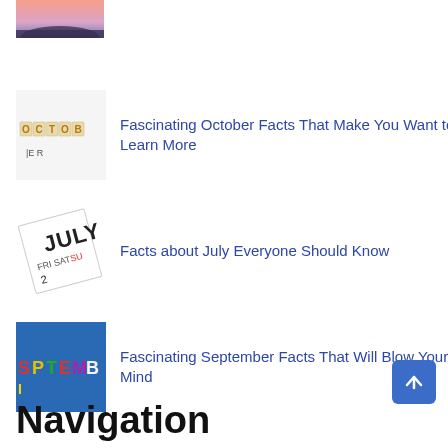[Figure (photo): Partial sunset/landscape photo (cropped at top)]
[Figure (photo): OCTOBER letter tiles on white background]
Fascinating October Facts That Make You Want to Learn More
[Figure (photo): July calendar page showing SAT, SUN, FRI]
Facts about July Everyone Should Know
[Figure (photo): September colorful letter tiles on blue background]
Fascinating September Facts That Will Blow Your Mind
Navigation